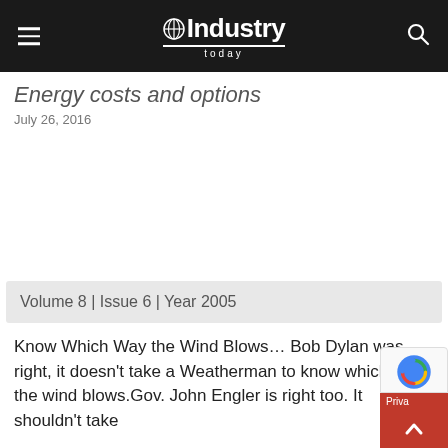Industry Today
Energy costs and options
July 26, 2016
Volume 8 | Issue 6 | Year 2005
Know Which Way the Wind Blows… Bob Dylan was right, it doesn't take a Weatherman to know which way the wind blows.Gov. John Engler is right too. It shouldn't take